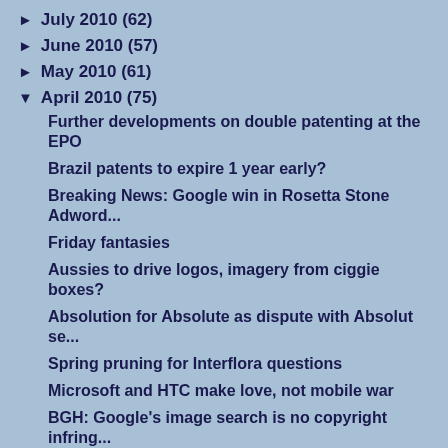► July 2010 (62)
► June 2010 (57)
► May 2010 (61)
▼ April 2010 (75)
Further developments on double patenting at the EPO
Brazil patents to expire 1 year early?
Breaking News: Google win in Rosetta Stone Adword...
Friday fantasies
Aussies to drive logos, imagery from ciggie boxes?
Absolution for Absolute as dispute with Absolut se...
Spring pruning for Interflora questions
Microsoft and HTC make love, not mobile war
BGH: Google's image search is no copyright infring...
IP and European competition law: a new book...